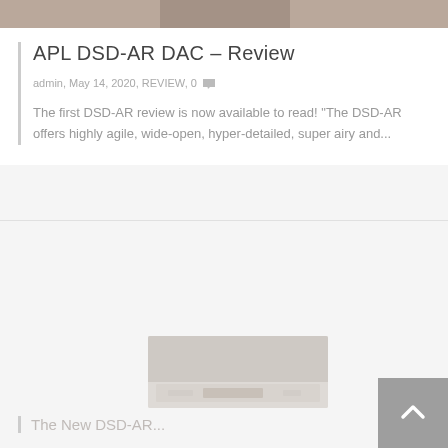[Figure (photo): Top portion of a product/device photo, partially cropped at the top of the page]
APL DSD-AR DAC – Review
admin, May 14, 2020, REVIEW, 0
The first DSD-AR review is now available to read! "The DSD-AR offers highly agile, wide-open, hyper-detailed, super airy and..."
[Figure (photo): Partially visible second article thumbnail showing a device/product image]
The New DSD-AR...